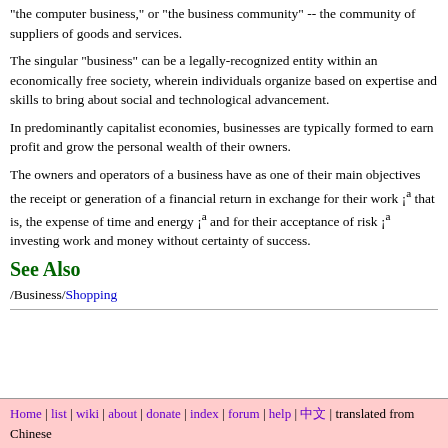"the computer business," or "the business community" -- the community of suppliers of goods and services.
The singular "business" can be a legally-recognized entity within an economically free society, wherein individuals organize based on expertise and skills to bring about social and technological advancement.
In predominantly capitalist economies, businesses are typically formed to earn profit and grow the personal wealth of their owners.
The owners and operators of a business have as one of their main objectives the receipt or generation of a financial return in exchange for their work ¡ª that is, the expense of time and energy ¡ª and for their acceptance of risk ¡ª investing work and money without certainty of success.
See Also
/Business/Shopping
Home | list | wiki | about | donate | index | forum | help | 中文 | translated from Chinese